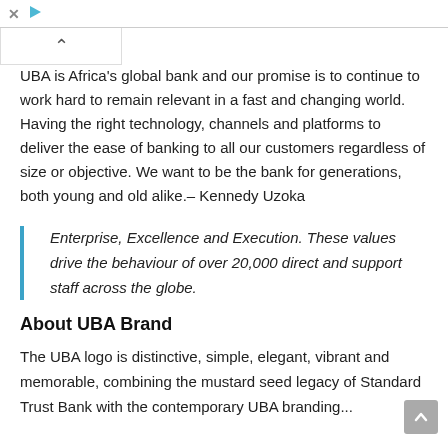UBA is Africa's global bank and our promise is to continue to work hard to remain relevant in a fast and changing world. Having the right technology, channels and platforms to deliver the ease of banking to all our customers regardless of size or objective. We want to be the bank for generations, both young and old alike.– Kennedy Uzoka
Enterprise, Excellence and Execution. These values drive the behaviour of over 20,000 direct and support staff across the globe.
About UBA Brand
The UBA logo is distinctive, simple, elegant, vibrant and memorable, combining the mustard seed legacy of Standard Trust Bank with the contemporary UBA brand experience...